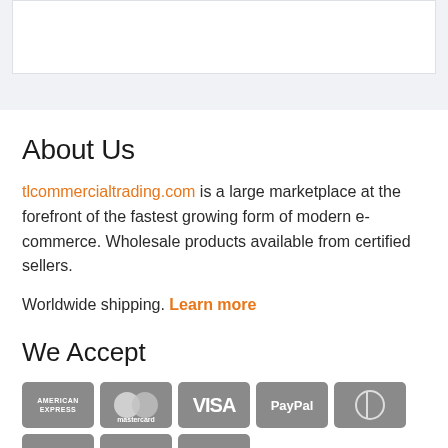[Figure (screenshot): Top gray background area with a white content box partially visible]
About Us
tlcommercialtrading.com is a large marketplace at the forefront of the fastest growing form of modern e-commerce. Wholesale products available from certified sellers.
Worldwide shipping. Learn more
We Accept
[Figure (illustration): Payment method icons: American Express, Mastercard, Visa, PayPal, Diners Club, Discover, Stripe, JCB, Alipay. An orange back-to-top button overlaps the Stripe icon.]